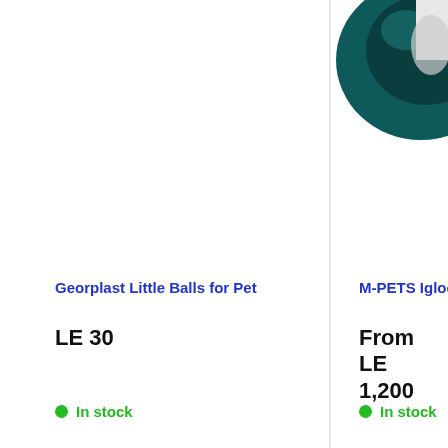[Figure (photo): Partial product image of M-PETS Igloo Dog house, top portion visible, teal/dark green colored]
Georplast Little Balls for Pet
LE 30
In stock
M-PETS Igloo Dog
From LE 1,200
In stock